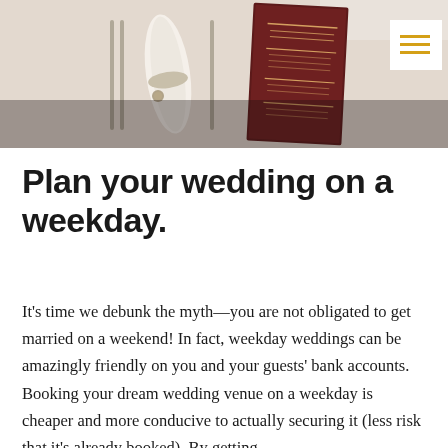[Figure (photo): Wedding table setting photo showing a folded napkin tied with a ribbon, silverware, and a dark red/maroon menu card with gold text on a white tablecloth. A hamburger/menu icon with gold lines appears in a white box at the top right corner.]
Plan your wedding on a weekday.
It's time we debunk the myth—you are not obligated to get married on a weekend! In fact, weekday weddings can be amazingly friendly on you and your guests' bank accounts. Booking your dream wedding venue on a weekday is cheaper and more conducive to actually securing it (less risk that it's already booked). By getting